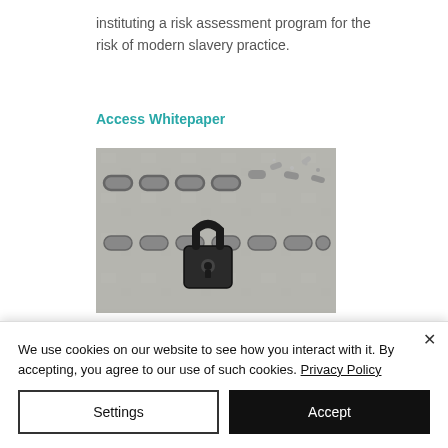instituting a risk assessment program for the risk of modern slavery practice.
Access Whitepaper
[Figure (photo): A padlock on chains against a concrete background, with chain links broken/scattered at the top]
White paper
We use cookies on our website to see how you interact with it. By accepting, you agree to our use of such cookies. Privacy Policy
Settings
Accept